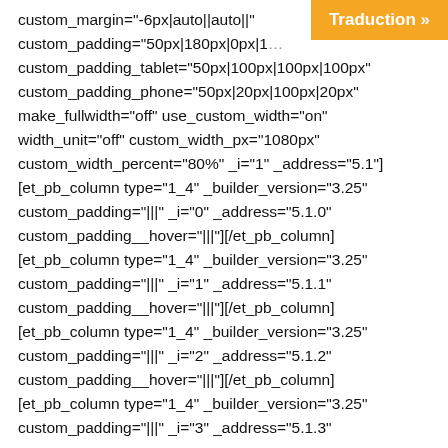[Figure (screenshot): Orange 'Traduction »' button in top-right corner]
custom_margin="-6px|auto||auto||"
custom_padding="50px|180px|0px|1… p…
custom_padding_tablet="50px|100px|100px|100px"
custom_padding_phone="50px|20px|100px|20px"
make_fullwidth="off" use_custom_width="on"
width_unit="off" custom_width_px="1080px"
custom_width_percent="80%" _i="1" _address="5.1"]
[et_pb_column type="1_4" _builder_version="3.25"
custom_padding="|||" _i="0" _address="5.1.0"
custom_padding__hover="|||"]/et_pb_column]
[et_pb_column type="1_4" _builder_version="3.25"
custom_padding="|||" _i="1" _address="5.1.1"
custom_padding__hover="|||"]/et_pb_column]
[et_pb_column type="1_4" _builder_version="3.25"
custom_padding="|||" _i="2" _address="5.1.2"
custom_padding__hover="|||"]/et_pb_column]
[et_pb_column type="1_4" _builder_version="3.25"
custom_padding="|||" _i="3" _address="5.1.3"